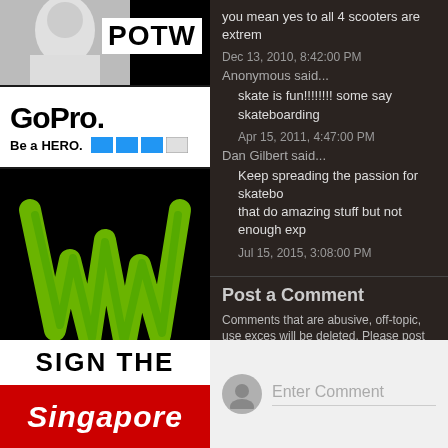[Figure (photo): POTW banner with partial photo of person and text POTW]
[Figure (logo): GoPro logo with Be a HERO text and colored squares]
[Figure (logo): Monster Energy logo on black background]
you mean yes to all 4 scooters are extre...
Dec 13, 2010, 8:42:00 PM
Anonymous said...
skate is fun!!!!!!!! some say skateboarding...
Apr 15, 2011, 4:47:00 PM
Dan Gilbert said...
Keep spreading the passion for skatebo... that do amazing stuff but not enough exp...
Jul 15, 2015, 3:08:00 PM
Post a Comment
Comments that are abusive, off-topic, use exces... will be deleted. Please post in English only.
Readers that leave constructive comments will b...
[Figure (screenshot): Comment input box with avatar and Enter Comment placeholder]
[Figure (infographic): Sign the Singapore petition banner with red and white colors]